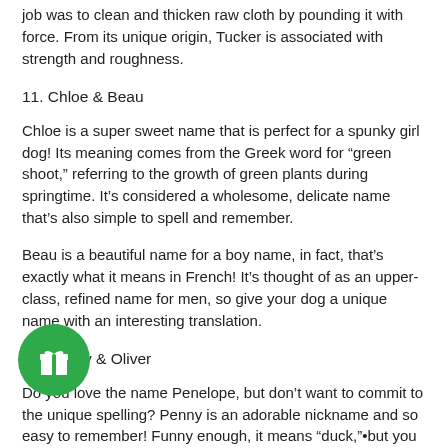job was to clean and thicken raw cloth by pounding it with force. From its unique origin, Tucker is associated with strength and roughness.
11. Chloe & Beau
Chloe is a super sweet name that is perfect for a spunky girl dog! Its meaning comes from the Greek word for “green shoot,” referring to the growth of green plants during springtime. It’s considered a wholesome, delicate name that’s also simple to spell and remember.
Beau is a beautiful name for a boy name, in fact, that’s exactly what it means in French! It’s thought of as an upper-class, refined name for men, so give your dog a unique name with an interesting translation.
12. Penny & Oliver
Do you love the name Penelope, but don’t want to commit to the unique spelling? Penny is an adorable nickname and so easy to remember! Funny enough, it means “duck,” but you can reference Penny from The Big Bang Theory with this name.